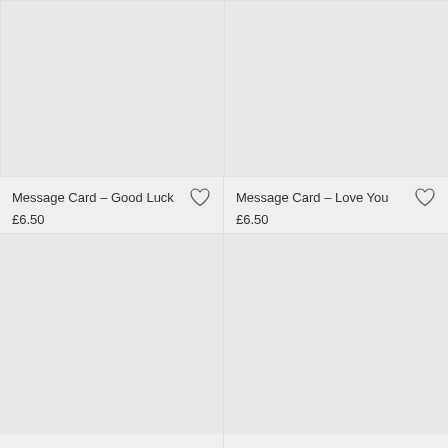[Figure (other): Product image placeholder for Message Card - Good Luck (top-left cell)]
Message Card – Good Luck
£6.50
[Figure (other): Product image placeholder for Message Card - Love You (top-right cell)]
Message Card – Love You
£6.50
[Figure (other): Product image placeholder bottom-left cell]
[Figure (other): Product image placeholder bottom-right cell]